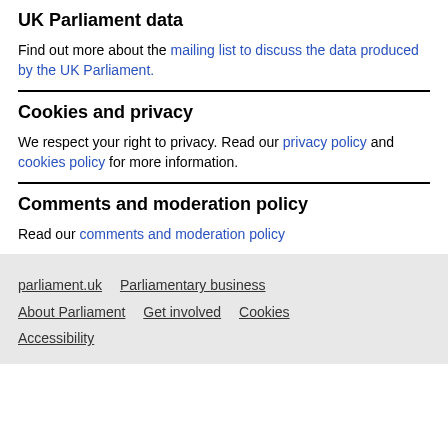UK Parliament data
Find out more about the mailing list to discuss the data produced by the UK Parliament.
Cookies and privacy
We respect your right to privacy. Read our privacy policy and cookies policy for more information.
Comments and moderation policy
Read our comments and moderation policy
parliament.uk   Parliamentary business   About Parliament   Get involved   Cookies   Accessibility